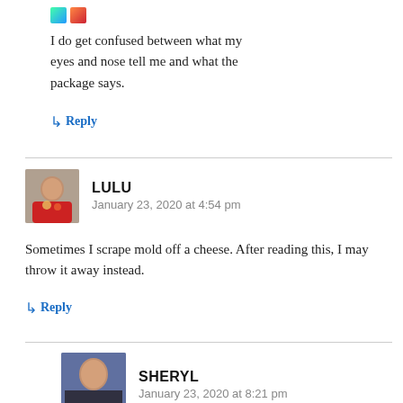I do get confused between what my eyes and nose tell me and what the package says.
↳ Reply
LULU
January 23, 2020 at 4:54 pm
Sometimes I scrape mold off a cheese. After reading this, I may throw it away instead.
↳ Reply
SHERYL
January 23, 2020 at 8:21 pm